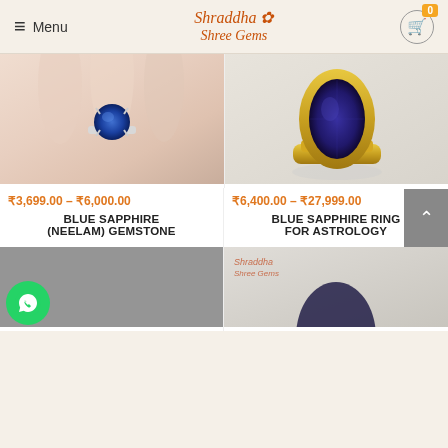Menu | Shraddha Shree Gems | Cart 0
[Figure (photo): Hand wearing a blue sapphire gemstone ring with silver prong setting]
[Figure (photo): Blue sapphire oval gemstone in a gold ring setting for astrology]
₹3,699.00 – ₹6,000.00
₹6,400.00 – ₹27,999.00
BLUE SAPPHIRE (NEELAM) GEMSTONE
BLUE SAPPHIRE RING FOR ASTROLOGY
[Figure (photo): Gemstone product image bottom left (partially visible)]
[Figure (photo): Gemstone ring product image bottom right (partially visible)]